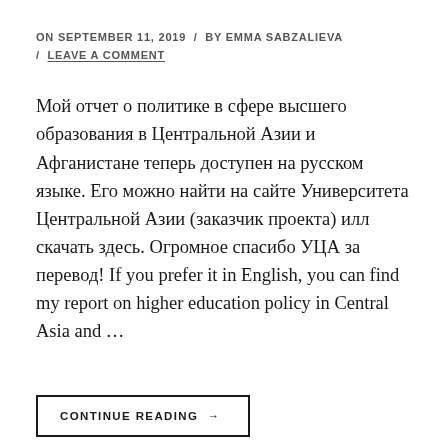ON SEPTEMBER 11, 2019 / BY EMMA SABZALIEVA / LEAVE A COMMENT
Мой отчет о политике в сфере высшего образования в Центральной Азии и Афганистане теперь доступен на русском языке. Его можно найти на сайте Университета Центральной Азии (заказчик проекта) илл скачать здесь. Огромное спасибо УЦА за перевод! If you prefer it in English, you can find my report on higher education policy in Central Asia and …
CONTINUE READING →